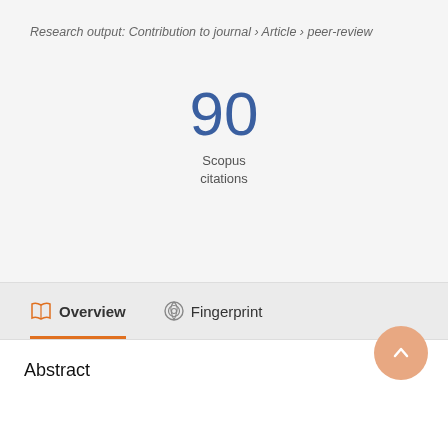Research output: Contribution to journal › Article › peer-review
90
Scopus
citations
Overview
Fingerprint
Abstract